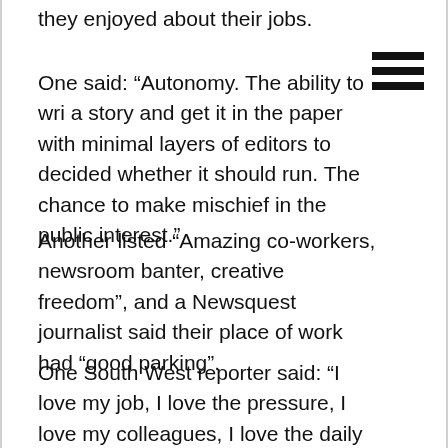they enjoyed about their jobs.
One said: “Autonomy. The ability to wri a story and get it in the paper with minimal layers of editors to decided whether it should run. The chance to make mischief in the public interest.”
Another listed “Amazing co-workers, newsroom banter, creative freedom”, and a Newsquest journalist said their place of work had “good parking”.
One South West reporter said: “I love my job, I love the pressure, I love my colleagues, I love the daily challenges